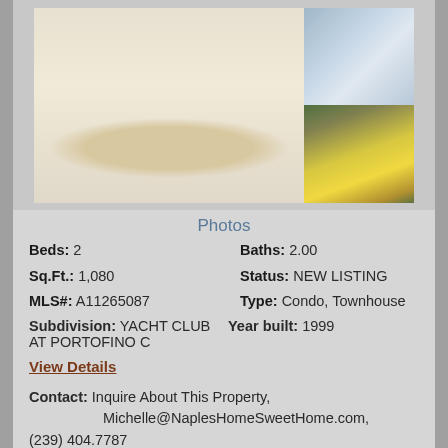[Figure (photo): Interior photo of a modern condo showing dining area with round table and wicker chairs, kitchen in background, and a second photo of a yellow boardwalk/pier artwork]
Photos
Beds: 2    Baths: 2.00
Sq.Ft.: 1,080    Status: NEW LISTING
MLS#: A11265087    Type: Condo, Townhouse
Subdivision: YACHT CLUB AT PORTOFINO C    Year built: 1999
View Details
Contact: Inquire About This Property, Michelle@NaplesHomeSweetHome.com, (239) 404.7787
Courtesy: Condoideas Realty Group LLC